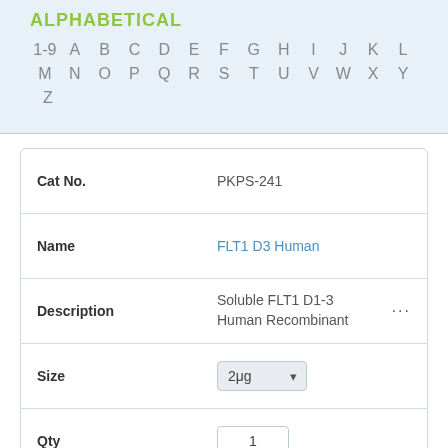ALPHABETICAL
1-9  A  B  C  D  E  F  G  H  I  J  K  L  M  N  O  P  Q  R  S  T  U  V  W  X  Y  Z
| Cat No. | Name | Description | Size | Qty | Price |
| --- | --- | --- | --- | --- | --- |
| PKPS-241 | FLT1 D3 Human | Soluble FLT1 D1-3 Human Recombinant | 2μg | 1 | $65 |